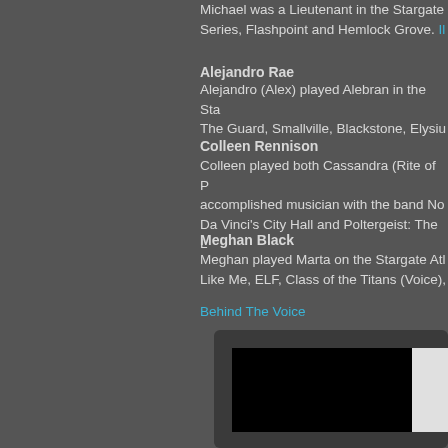Michael was a Lieutenant in the Stargate Series, Flashpoint and Hemlock Grove.
Alejandro Rae
Alejandro (Alex) played Alebran in the Sta The Guard, Smallville, Blackstone, Elysiu
Colleen Rennison
Colleen played both Cassandra (Rite of P accomplished musician with the band No Da Vinci's City Hall and Poltergeist: The L
Meghan Black
Meghan played Marta on the Stargate Atl Like Me, ELF, Class of the Titans (Voice),
Behind The Voice
[Figure (screenshot): A media player or video thumbnail embedded in the page, showing a dark/black video area with a lighter panel on the right side, set against a dark rounded rectangle container.]